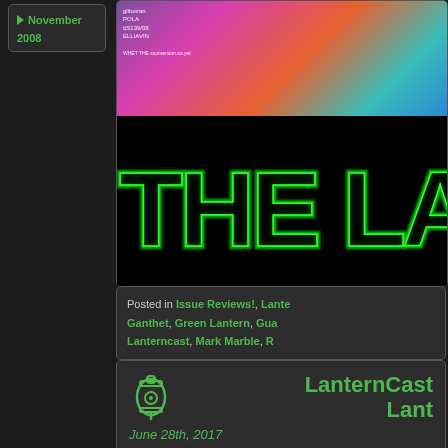November 2008
[Figure (illustration): Comic book cover images including colorful superhero art and a horror-style 'THE LA' title banner in glowing green on black background]
Posted in Issue Reviews!, Lanterncast, Ganthet, Green Lantern, Guardianscast, Lanterncast, Mark Marble, R...
LanternCast Lantern...
June 28th, 2017
Chad and Mark are "LOST IN S... It's Training Day for Simon...